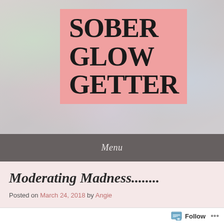[Figure (logo): Sober Glow Getter blog logo — large serif bold uppercase text on pink background, set against a blurred bokeh gray-pink background]
Menu
Moderating Madness........
Posted on March 24, 2018 by Angie
Follow ...